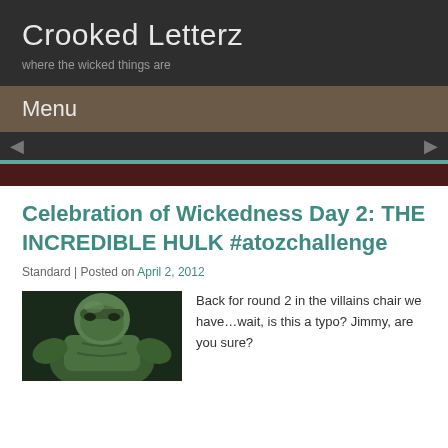Crooked Letterz
where the wicked things are
Menu
Celebration of Wickedness Day 2: THE INCREDIBLE HULK #atozchallenge
Standard | Posted on April 2, 2012
[Figure (illustration): Illustration of the Incredible Hulk, green muscular figure in a crouching pose]
Back for round 2 in the villains chair we have…wait, is this a typo? Jimmy, are you sure?